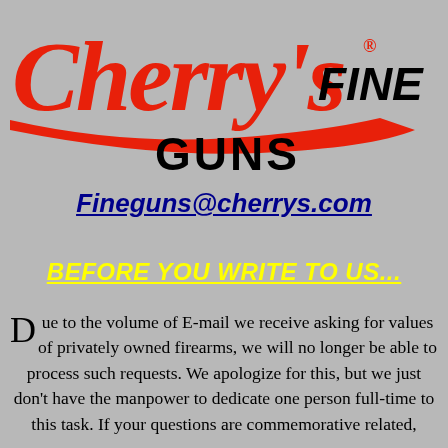[Figure (logo): Cherry's Fine Guns logo — red cursive script reading 'Cherry's' with registered trademark symbol, followed by 'FINE GUNS' in black bold italic/bold text]
Fineguns@cherrys.com
BEFORE YOU WRITE TO US...
Due to the volume of E-mail we receive asking for values of privately owned firearms, we will no longer be able to process such requests. We apologize for this, but we just don't have the manpower to dedicate one person full-time to this task. If your questions are commemorative related,